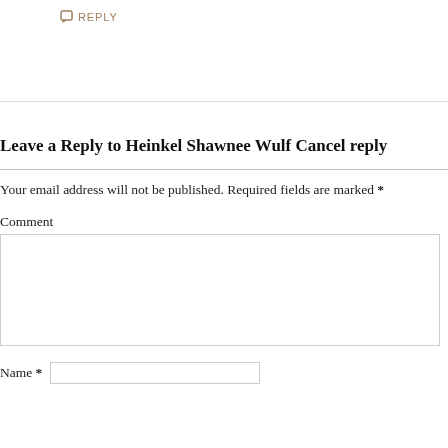REPLY
Leave a Reply to Heinkel Shawnee Wulf Cancel reply
Your email address will not be published. Required fields are marked *
Comment
Name *